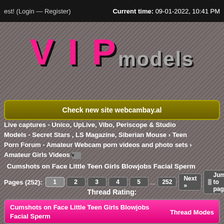est! (Login — Register)   Current time: 09-01-2022, 10:41 PM
[Figure (logo): VIP models logo with pink V I P letters and grey models text]
Check new site webcambay.al
Live captures - Unico, UpLive, Vibo, Periscope & Studio Models - Secret Stars , LS Magazine, Siberian Mouse › Teen Porn Forum - Amateur Webcam porn videos and photo sets › Amateur Girls Videos
Cumshots on Face Little Teen Girls Blowjobs Facial Sperm
Pages (252): 1 2 3 4 5 ... 252 Next » Jump to page
Thread Rating:
Cumshots on Face Little Teen Girls Blowjobs Facial Sperm   Thread Modes
01-15-2022, 06:40 AM,   #1